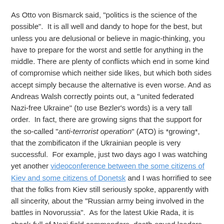As Otto von Bismarck said, "politics is the science of the possible". It is all well and dandy to hope for the best, but unless you are delusional or believe in magic-thinking, you have to prepare for the worst and settle for anything in the middle. There are plenty of conflicts which end in some kind of compromise which neither side likes, but which both sides accept simply because the alternative is even worse. And as Andreas Walsh correctly points out, a "united federated Nazi-free Ukraine" (to use Bezler's words) is a very tall order. In fact, there are growing signs that the support for the so-called "anti-terrorist operation" (ATO) is *growing*, that the zombificaton if the Ukrainian people is very successful. For example, just two days ago I was watching yet another videoconference between the some citizens of Kiev and some citizens of Donetsk and I was horrified to see that the folks from Kiev still seriously spoke, apparently with all sincerity, about the "Russian army being involved in the battles in Novorussia". As for the latest Ukie Rada, it is chock-full of Nazi field commanders, death-squad leaders, clearly Nazi politicians and, of course, oligarchs. The truth is that there are no signs of even a slight de-Nazificaton in the Ukraine, quite to the contrary, all the signs are of a rapid and strong Nazification of the Ukrainian society.
That is all true, but that is only part of the picture. A small part.